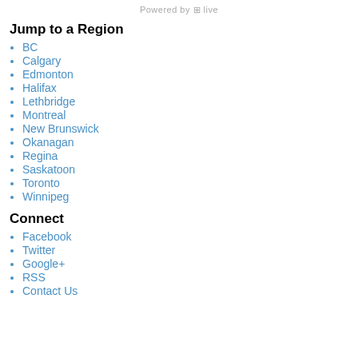Powered by [h] live
Jump to a Region
BC
Calgary
Edmonton
Halifax
Lethbridge
Montreal
New Brunswick
Okanagan
Regina
Saskatoon
Toronto
Winnipeg
Connect
Facebook
Twitter
Google+
RSS
Contact Us